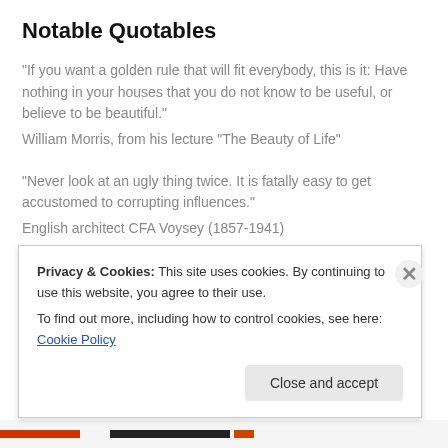Notable Quotables
"If you want a golden rule that will fit everybody, this is it: Have nothing in your houses that you do not know to be useful, or believe to be beautiful."
William Morris, from his lecture "The Beauty of Life"
'"Never look at an ugly thing twice. It is fatally easy to get accustomed to corrupting influences."
English architect CFA Voysey (1857-1941)
"The world of books is the most remarkable creation of man. Nothing else that he builds ever lasts. Monuments fall, nations perish,
Privacy & Cookies: This site uses cookies. By continuing to use this website, you agree to their use.
To find out more, including how to control cookies, see here: Cookie Policy
Close and accept